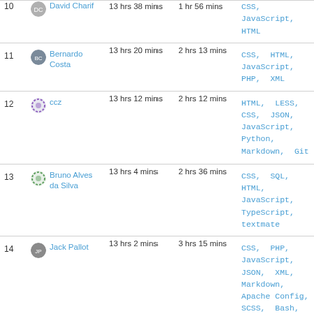| # | User | Total Time | Longest Session | Languages |
| --- | --- | --- | --- | --- |
| 10 | David Charif | 13 hrs 38 mins | 1 hr 56 mins | CSS, JavaScript, HTML |
| 11 | Bernardo Costa | 13 hrs 20 mins | 2 hrs 13 mins | CSS, HTML, JavaScript, PHP, XML |
| 12 | ccz | 13 hrs 12 mins | 2 hrs 12 mins | HTML, LESS, CSS, JSON, JavaScript, Python, Markdown, Git |
| 13 | Bruno Alves da Silva | 13 hrs 4 mins | 2 hrs 36 mins | CSS, SQL, HTML, JavaScript, TypeScript, textmate |
| 14 | Jack Pallot | 13 hrs 2 mins | 3 hrs 15 mins | CSS, PHP, JavaScript, JSON, XML, Markdown, Apache Config, SCSS, Bash, ... |